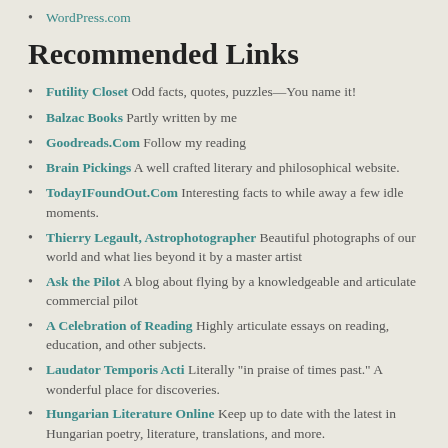WordPress.com
Recommended Links
Futility Closet Odd facts, quotes, puzzles—You name it!
Balzac Books Partly written by me
Goodreads.Com Follow my reading
Brain Pickings A well crafted literary and philosophical website.
TodayIFoundOut.Com Interesting facts to while away a few idle moments.
Thierry Legault, Astrophotographer Beautiful photographs of our world and what lies beyond it by a master artist
Ask the Pilot A blog about flying by a knowledgeable and articulate commercial pilot
A Celebration of Reading Highly articulate essays on reading, education, and other subjects.
Laudator Temporis Acti Literally "in praise of times past." A wonderful place for discoveries.
Hungarian Literature Online Keep up to date with the latest in Hungarian poetry, literature, translations, and more.